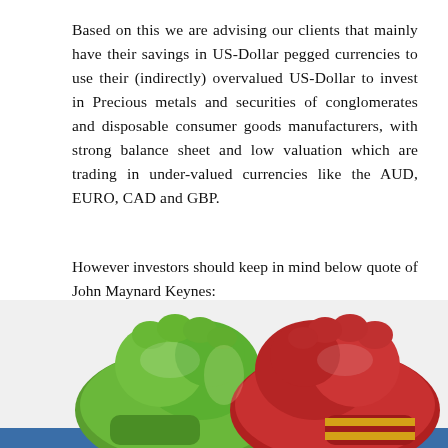Based on this we are advising our clients that mainly have their savings in US-Dollar pegged currencies to use their (indirectly) overvalued US-Dollar to invest in Precious metals and securities of conglomerates and disposable consumer goods manufacturers, with strong balance sheet and low valuation which are trading in under-valued currencies like the AUD, EURO, CAD and GBP.
However investors should keep in mind below quote of John Maynard Keynes:
“Markets can remain irrational for longer than you can remain solvent”
[Figure (photo): Two boxing gloves facing each other — a green glove on the left and a red glove on the right, clashing together, symbolizing market competition between bulls and bears.]